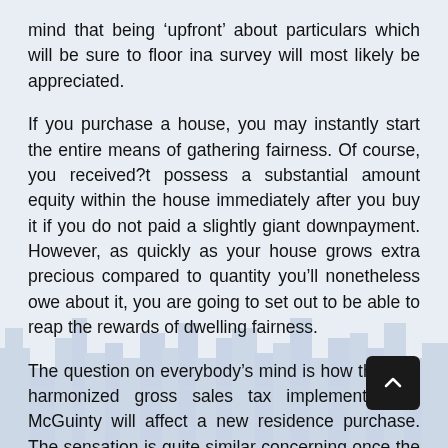mind that being 'upfront' about particulars which will be sure to floor ina survey will most likely be appreciated.
If you purchase a house, you may instantly start the entire means of gathering fairness. Of course, you received?t possess a substantial amount equity within the house immediately after you buy it if you do not paid a slightly giant downpayment. However, as quickly as your house grows extra precious compared to quantity you'll nonetheless owe about it, you are going to set out to be able to reap the rewards of dwelling fairness.
The question on everybody's mind is how the new harmonized gross sales tax implemented by McGuinty will affect a new residence purchase. The sensation is quite similar concerning once the federal